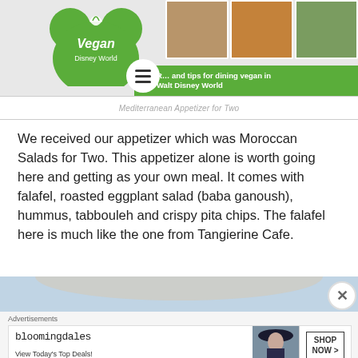[Figure (screenshot): Vegan Disney World website header banner with green Mickey Mouse ears logo, food photos, and tagline 'Reviews and tips for dining vegan in Walt Disney World']
Mediterranean Appetizer for Two
We received our appetizer which was Moroccan Salads for Two. This appetizer alone is worth going here and getting as your own meal. It comes with falafel, roasted eggplant salad (baba ganoush), hummus, tabbouleh and crispy pita chips. The falafel here is much like the one from Tangierine Cafe.
[Figure (photo): Bottom portion of food photo, partially visible]
Advertisements
[Figure (screenshot): Bloomingdale's advertisement: 'bloomingdales - View Today's Top Deals!' with woman in hat image and 'SHOP NOW >' button]